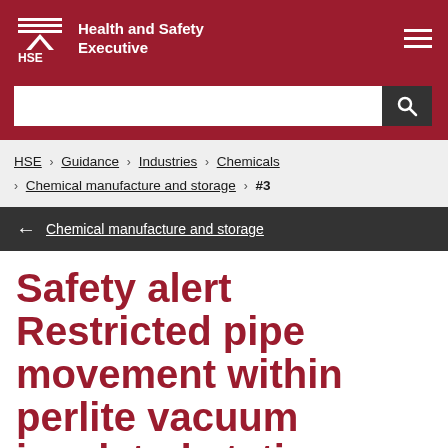Health and Safety Executive
HSE > Guidance > Industries > Chemicals > Chemical manufacture and storage > #3
← Chemical manufacture and storage
Safety alert Restricted pipe movement within perlite vacuum insulated stations